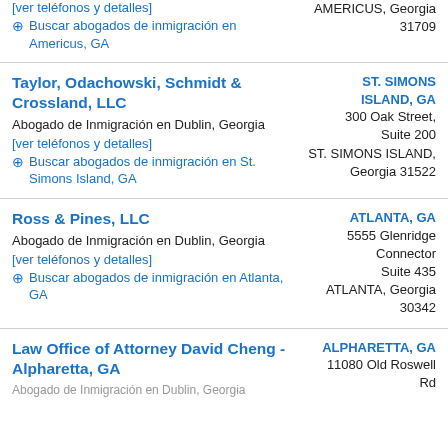[ver teléfonos y detalles]
⊕ Buscar abogados de inmigración en Americus, GA | AMERICUS, Georgia 31709
Taylor, Odachowski, Schmidt & Crossland, LLC
Abogado de Inmigración en Dublin, Georgia
[ver teléfonos y detalles]
⊕ Buscar abogados de inmigración en St. Simons Island, GA | ST. SIMONS ISLAND, GA
300 Oak Street, Suite 200
ST. SIMONS ISLAND, Georgia 31522
Ross & Pines, LLC
Abogado de Inmigración en Dublin, Georgia
[ver teléfonos y detalles]
⊕ Buscar abogados de inmigración en Atlanta, GA | ATLANTA, GA
5555 Glenridge Connector Suite 435
ATLANTA, Georgia 30342
Law Office of Attorney David Cheng - Alpharetta, GA | ALPHARETTA, GA
11080 Old Roswell Rd